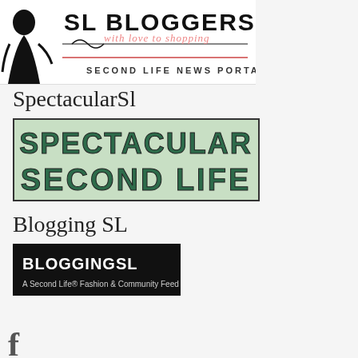[Figure (logo): SL Bloggers logo with silhouette figure, 'with love to shopping' tagline, and 'SECOND LIFE NEWS PORTAL' text]
SpectacularSl
[Figure (logo): Spectacular Second Life logo with large bold art-deco green lettering on light green background]
Blogging SL
[Figure (logo): BloggingSL logo - black background with white bold text 'BLOGGINGSL' and subtitle 'A Second Life® Fashion & Community Feed']
[Figure (logo): Partial logo visible at bottom of page]